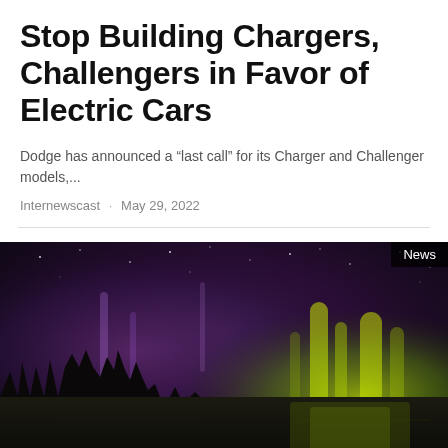Stop Building Chargers, Challengers in Favor of Electric Cars
Dodge has announced a “last call” for its Charger and Challenger models,...
Internewscast · May 29, 2022
[Figure (photo): Night sky photograph showing northern lights (aurora borealis) with purple and green hues over a dark treeline reflected in water, with a 'News' badge overlay in the top right corner.]